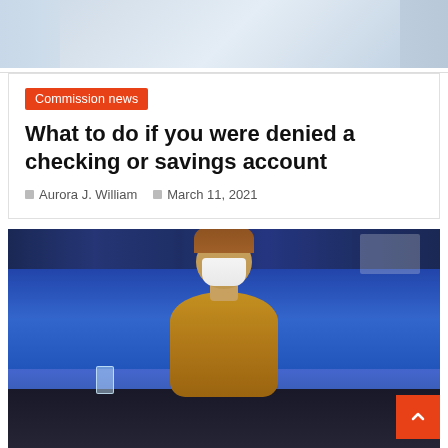[Figure (photo): Top portion of a photo showing an office/parliament setting, partially cropped]
Commission news
What to do if you were denied a checking or savings account
Aurora J. William   March 11, 2021
[Figure (photo): Woman wearing a white face mask and golden/mustard cardigan sitting in a blue parliament seat, looking at her phone, with a glass of water on the dark desk in front of her]